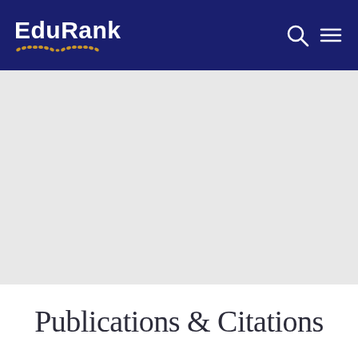EduRank
[Figure (other): Gray banner/hero image placeholder area]
Publications & Citations